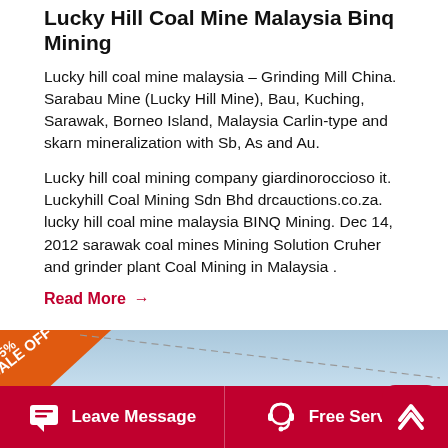Lucky Hill Coal Mine Malaysia Binq Mining
Lucky hill coal mine malaysia – Grinding Mill China. Sarabau Mine (Lucky Hill Mine), Bau, Kuching, Sarawak, Borneo Island, Malaysia Carlin-type and skarn mineralization with Sb, As and Au.
Lucky hill coal mining company giardinoroccioso it. Luckyhill Coal Mining Sdn Bhd drcauctions.co.za. lucky hill coal mine malaysia BINQ Mining. Dec 14, 2012 sarawak coal mines Mining Solution Cruher and grinder plant Coal Mining in Malaysia .
Read More →
[Figure (photo): Promotional banner image with blue sky background and an orange diagonal ribbon badge showing '5% SALE OFF']
Leave Message   Free Service